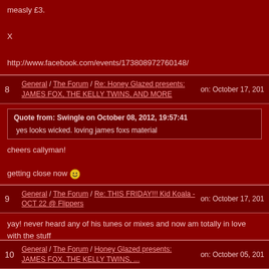measly £3.

X

http://www.facebook.com/events/173808972760148/
8   General / The Forum / Re: Honey Glazed presents: JAMES FOX, THE KELLY TWINS, AND MORE   on: October 17, 2013
Quote from: Swingle on October 08, 2012, 19:57:41
yes looks wicked. loving james foxs material

cheers callyman!

getting close now :)
9   General / The Forum / Re: THIS FRIDAY!!! Kid Koala - OCT 22 @ Flippers   on: October 17, 2012
yay! never heard any of his tunes or mixes and now am totally in love with the stuff
10   General / The Forum / Honey Glazed presents: JAMES FOX, THE KELLY TWINS, ...   on: October 05, 2013